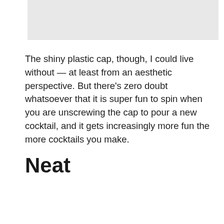[Figure (photo): Gray placeholder image at top of page]
The shiny plastic cap, though, I could live without — at least from an aesthetic perspective. But there's zero doubt whatsoever that it is super fun to spin when you are unscrewing the cap to pour a new cocktail, and it gets increasingly more fun the more cocktails you make.
Neat